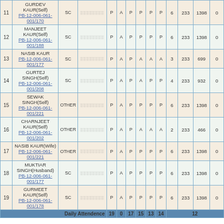| # | Name | Category | Code | P | A | P | P/A | P/A | P/A | P/A | Count | 233 | Total | 0 |
| --- | --- | --- | --- | --- | --- | --- | --- | --- | --- | --- | --- | --- | --- | --- |
| 11 | GURDEV KAUR(Self) PB-12-006-061-001/170 | SC | ░░░░░░░░ | P | A | P | P | P | P | 6 | 233 | 1398 | 0 |
| 12 | MANJEET KAUR(Self) PB-12-006-061-001/188 | SC | ░░░░░░░░ | P | A | P | P | P | P | 6 | 233 | 1398 | 0 |
| 13 | NASIB KAUR PB-12-006-061-001/177 | SC | ░░░░░░░░ | P | A | P | A | A | A | 3 | 233 | 699 | 0 |
| 14 | GURTEJ SINGH(Self) PB-12-006-061-001/208 | SC | ░░░░░░░░ | P | A | P | A | P | P | A | 4 | 233 | 932 | 0 |
| 15 | SEWAK SINGH(Self) PB-12-006-061-001/221 | OTHER | ░░░░░░░░ | P | A | P | P | P | P | 6 | 233 | 1398 | 0 |
| 16 | CHARNJEET KAUR(Self) PB-12-006-061-001/202 | OTHER | ░░░░░░░░ | P | A | P | A | A | A | A | 2 | 233 | 466 | 0 |
| 17 | NASIB KAUR(Wife) PB-12-006-061-001/221 | OTHER | ░░░░░░░░ | P | A | P | P | P | P | 6 | 233 | 1398 | 0 |
| 18 | MUKTIAR SINGH(Husband) PB-12-006-061-001/177 | SC | ░░░░░░░░ | P | A | P | P | P | P | 6 | 233 | 1398 | 0 |
| 19 | GURMEET KAUR(Self) PB-12-006-061-001/178 | SC | ░░░░░░░░ | P | A | P | P | P | P | 6 | 233 | 1398 | 0 |